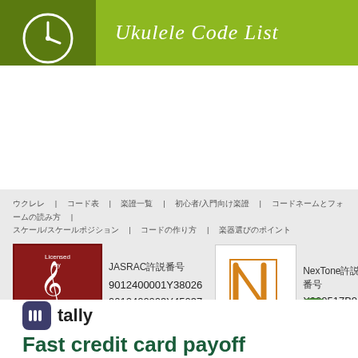[Figure (logo): Green banner with clock icon and 'Ukulele Code List' title in italic white text]
ウクレレ | コード表 | 楽譜一覧 | 初心者/入門向け楽譜 | コードネームとフォームの読み方 | スケール/スケールポジション | コードの作り方 | 楽器選びのポイント
[Figure (logo): JASRAC Licensed badge - dark red with musical note and text 'Licensed by JASRAC']
JASRAC許諾番号
9012400001Y38026
9012400003Y45037
[Figure (logo): NexTone logo - white box with orange N letter mark]
NexTone許諾番号
X000517B01L
[Figure (logo): Green M circular logo, partially visible at bottom right]
[Figure (logo): Tally app icon and 'Fast credit card payoff' advertisement text]